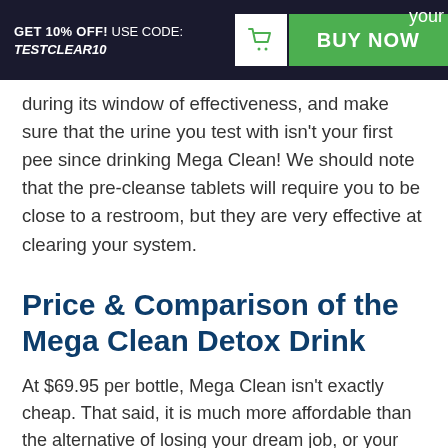GET 10% OFF! USE CODE: TESTCLEAR10 | your | BUY NOW
during its window of effectiveness, and make sure that the urine you test with isn't your first pee since drinking Mega Clean! We should note that the pre-cleanse tablets will require you to be close to a restroom, but they are very effective at clearing your system.
Price & Comparison of the Mega Clean Detox Drink
At $69.95 per bottle, Mega Clean isn't exactly cheap. That said, it is much more affordable than the alternative of losing your dream job, or your existing one, due to a failed drug test (never mind